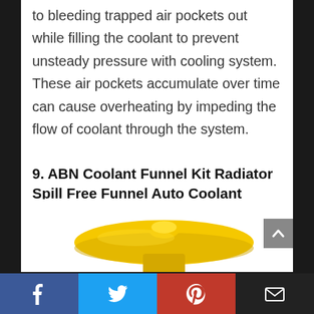to bleeding trapped air pockets out while filling the coolant to prevent unsteady pressure with cooling system. These air pockets accumulate over time can cause overheating by impeding the flow of coolant through the system.
9. ABN Coolant Funnel Kit Radiator Spill Free Funnel Auto Coolant Flush Kit No Spill Funnel Radiator Funnel Fill Kit
[Figure (photo): Yellow radiator coolant funnel kit product photo, partially visible at bottom of page]
Social share bar with Facebook, Twitter, Pinterest, and Email icons